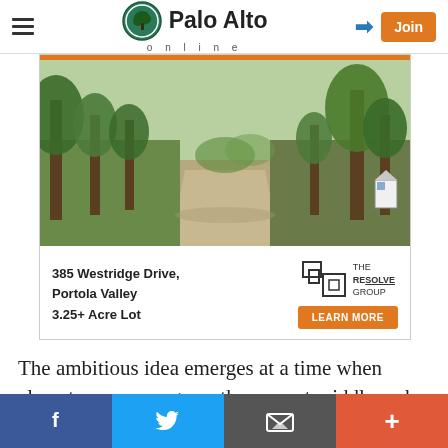Palo Alto online
[Figure (photo): Advertisement: Photo of a tree-lined gravel driveway leading to a property at 385 Westridge Drive, Portola Valley. The Resolve Group logo and 'LEARN MORE' button are shown below the photo.]
The ambitious idea emerges at a time when almost everyone agrees the current middle and high schools are too big, the district is swimming in money and a
Facebook  Twitter  Email  +